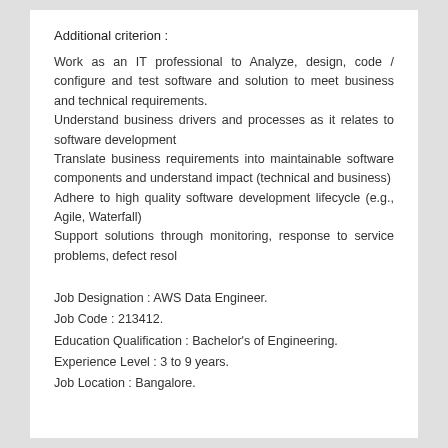Additional criterion :
Work as an IT professional to Analyze, design, code / configure and test software and solution to meet business and technical requirements.
Understand business drivers and processes as it relates to software development
Translate business requirements into maintainable software components and understand impact (technical and business)
Adhere to high quality software development lifecycle (e.g., Agile, Waterfall)
Support solutions through monitoring, response to service problems, defect resol
Job Designation : AWS Data Engineer.
Job Code : 213412.
Education Qualification : Bachelor's of Engineering.
Experience Level : 3 to 9 years.
Job Location : Bangalore.